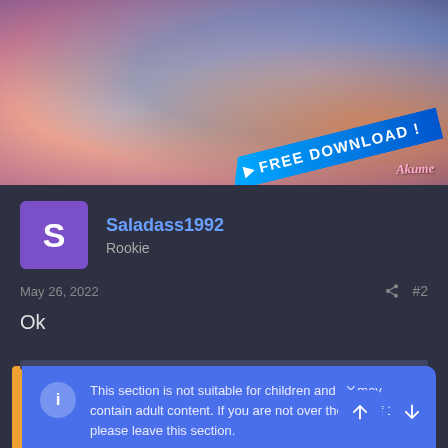[Figure (illustration): Anime-style illustration banner with 'FREE DOWNLOAD!' text overlay on a blue diagonal banner, and a brand watermark]
Saladass1992
Rookie
May 26, 2022   #2
Ok
This section is not suitable for children and may contain adult content. If you are not over the age of 18 please leave this section.